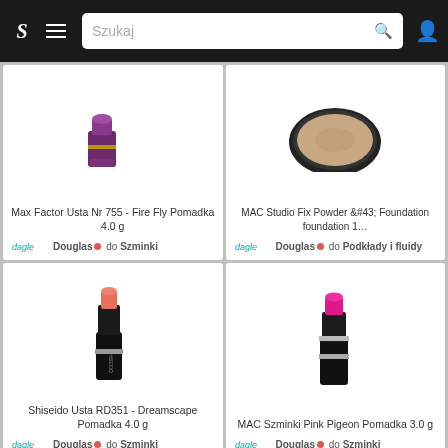S  ≡  Szukaj  🔍
[Figure (photo): Max Factor lipstick product image (top partial)]
Max Factor Usta Nr 755 - Fire Fly Pomadka 4.0 g
Douglas • do Szminki
[Figure (photo): MAC Studio Fix Powder compact product image (top partial)]
MAC Studio Fix Powder &#43; Foundation foundation 1…
Douglas • do Podkłady i fluidy
[Figure (photo): Shiseido coral lipstick product image]
Shiseido Usta RD351 - Dreamscape Pomadka 4.0 g
Douglas • do Szminki
[Figure (photo): MAC pink lipstick product image]
MAC Szminki Pink Pigeon Pomadka 3.0 g
Douglas • do Szminki